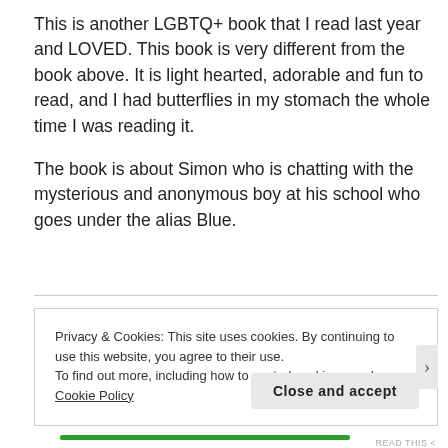This is another LGBTQ+ book that I read last year and LOVED. This book is very different from the book above. It is light hearted, adorable and fun to read, and I had butterflies in my stomach the whole time I was reading it.
The book is about Simon who is chatting with the mysterious and anonymous boy at his school who goes under the alias Blue.
Privacy & Cookies: This site uses cookies. By continuing to use this website, you agree to their use.
To find out more, including how to control cookies, see here: Cookie Policy
Close and accept